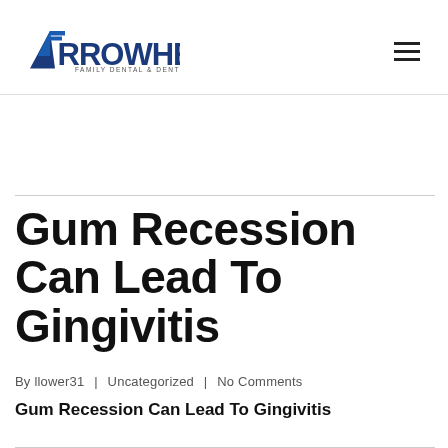Arrowhead Family Dental & Dentures
Gum Recession Can Lead To Gingivitis
By llower31 | Uncategorized | No Comments
Gum Recession Can Lead To Gingivitis